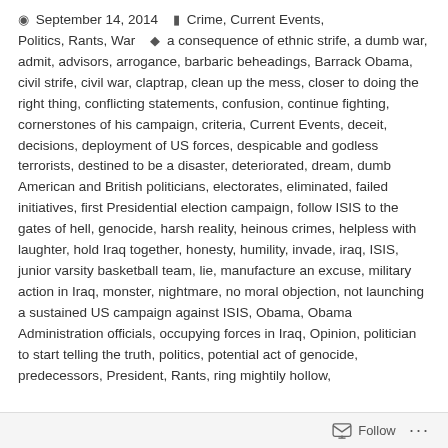September 14, 2014   Crime, Current Events, Politics, Rants, War   a consequence of ethnic strife, a dumb war, admit, advisors, arrogance, barbaric beheadings, Barrack Obama, civil strife, civil war, claptrap, clean up the mess, closer to doing the right thing, conflicting statements, confusion, continue fighting, cornerstones of his campaign, criteria, Current Events, deceit, decisions, deployment of US forces, despicable and godless terrorists, destined to be a disaster, deteriorated, dream, dumb American and British politicians, electorates, eliminated, failed initiatives, first Presidential election campaign, follow ISIS to the gates of hell, genocide, harsh reality, heinous crimes, helpless with laughter, hold Iraq together, honesty, humility, invade, iraq, ISIS, junior varsity basketball team, lie, manufacture an excuse, military action in Iraq, monster, nightmare, no moral objection, not launching a sustained US campaign against ISIS, Obama, Obama Administration officials, occupying forces in Iraq, Opinion, politician to start telling the truth, politics, potential act of genocide, predecessors, President, Rants, ring mightily hollow,
Follow